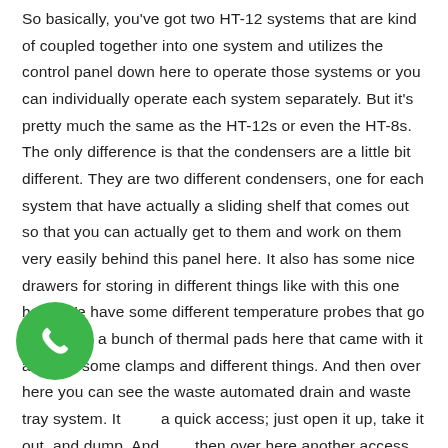So basically, you've got two HT-12 systems that are kind of coupled together into one system and utilizes the control panel down here to operate those systems or you can individually operate each system separately. But it's pretty much the same as the HT-12s or even the HT-8s. The only difference is that the condensers are a little bit different. They are two different condensers, one for each system that have actually a sliding shelf that comes out so that you can actually get to them and work on them very easily behind this panel here. It also has some nice drawers for storing in different things like with this one here. We have some different temperature probes that go with it and a bunch of thermal pads here that came with it and just some clamps and different things. And then over here you can see the waste automated drain and waste tray system. It a quick access; just open it up, take it out, and dump. And then over here another access door, this gets you into your
[Figure (illustration): Green circular phone/call icon button overlaid on the text in the lower left area of the page]